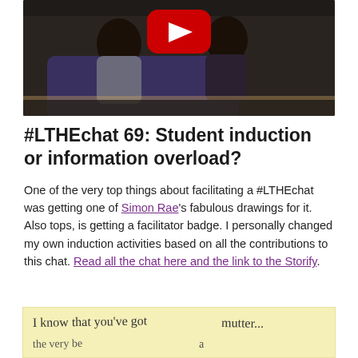[Figure (screenshot): Video thumbnail showing two people sitting on a sofa/couch in conversation, with a red YouTube play button overlay in the upper center. The image background is dark.]
#LTHEchat 69: Student induction or information overload?
One of the very top things about facilitating a #LTHEchat was getting one of Simon Rae's fabulous drawings for it.  Also tops, is getting a facilitator badge. I personally changed my own induction activities based on all the contributions to this chat. Read all the chat here and the link to the Storify.
[Figure (photo): A sticky note or paper with handwritten text reading 'I know that you've got' on the left and 'mutter...' on the right, on a yellow/cream background.]